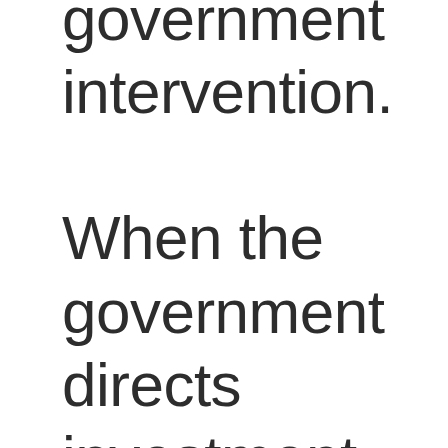government intervention. When the government directs investment (no matter the method), it diverts